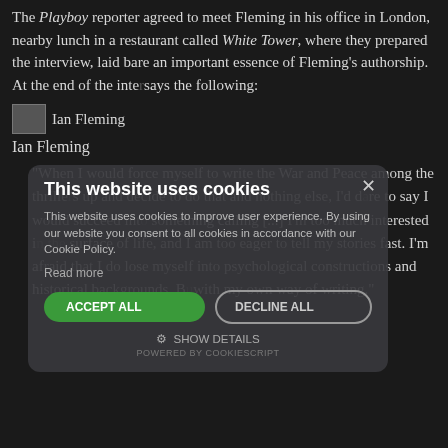The Playboy reporter agreed to meet Fleming in his office in London, nearby lunch in a restaurant called White Tower, where they prepared the interview, laid bare an important essence of Fleming's authorship. At the end of the interview, says the following:
[Figure (photo): Small thumbnail photo of Ian Fleming]
Ian Fleming
“When I would force myself to write the War and Peace among the thrillers, up and decide to do that and nothing else, I’d dare to say I would succeed into… something calling [...] I’m too much interested in surface of life, and I am too eager to tell my stories fast. I’m afraid that I do lose myself into psychological constructions and historical backgrounds. But with my own way of writing.”
Brings this statement final proof for the thesis that Bond is just a superficial adventure for the average picture-goer, and not the melancholic and psychological figure that Bond fans – including me – want him to be? Can we, the fans, finally say that Fleming after all and that MoonRaker indeed was the best Bond picture ever? Of course, these are questions of taste; and we all know that tastes differ.
No, what makes this statement of Ian Fleming so interesting, is that it tells us
This website uses cookies
This website uses cookies to improve user experience. By using our website you consent to all cookies in accordance with our Cookie Policy.
Read more
ACCEPT ALL
DECLINE ALL
SHOW DETAILS
POWERED BY COOKIESCRIPT